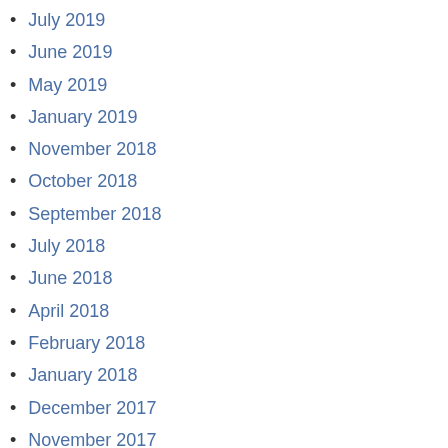July 2019
June 2019
May 2019
January 2019
November 2018
October 2018
September 2018
July 2018
June 2018
April 2018
February 2018
January 2018
December 2017
November 2017
October 2017
July 2017
June 2017
May 2017
October 2016